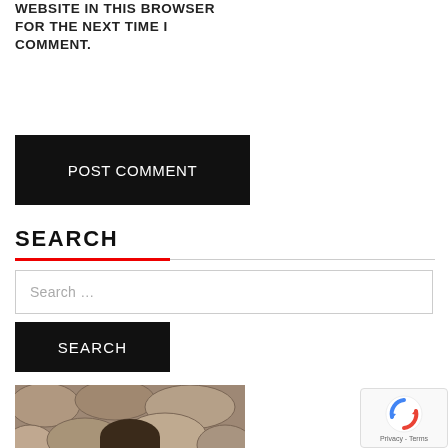WEBSITE IN THIS BROWSER FOR THE NEXT TIME I COMMENT.
POST COMMENT
SEARCH
Search …
SEARCH
[Figure (photo): Headshot of a young man with short dark hair, smiling, wearing a white shirt, standing in front of a stone wall background.]
[Figure (logo): reCAPTCHA badge with Google reCAPTCHA logo and 'Privacy - Terms' text]